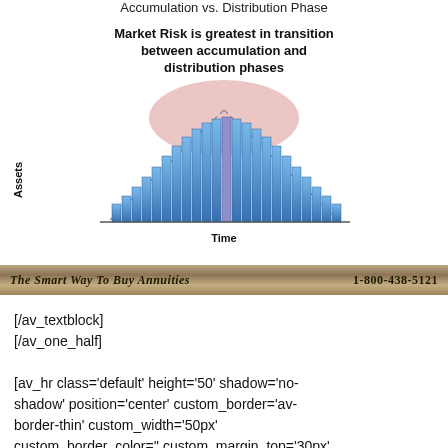[Figure (infographic): Bar chart showing accumulation vs distribution phase. Bars rise then fall in a bell curve shape with a pink ellipse at the peak. Y-axis labeled 'Assets', X-axis labeled 'Time'. Title: 'Market Risk is greatest in transition between accumulation and distribution phases'. Dashed triangle lines underlay the bars.]
The Smart Way To Buy Annuities    1-800-438-5121
[/av_textblock]
[/av_one_half]

[av_hr class='default' height='50' shadow='no-shadow' position='center' custom_border='av-border-thin' custom_width='50px' custom_border_color='' custom_margin_top='30px' custom_margin_bottom='30px' icon_select='yes'